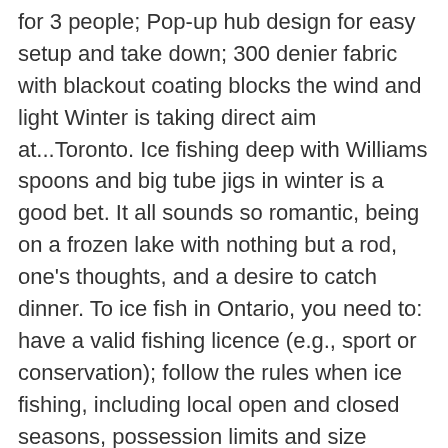for 3 people; Pop-up hub design for easy setup and take down; 300 denier fabric with blackout coating blocks the wind and light Winter is taking direct aim at...Toronto. Ice fishing deep with Williams spoons and big tube jigs in winter is a good bet. It all sounds so romantic, being on a frozen lake with nothing but a rod, one's thoughts, and a desire to catch dinner. To ice fish in Ontario, you need to: have a valid fishing licence (e.g., sport or conservation); follow the rules when ice fishing, including local open and closed seasons, possession limits and size restrictions indicated in the Recreational Fishing Regulations Summary; register your ice hut – only in Fisheries Management Zones 9-12 and 14-20 With several ice hut operators around Ontario's 6 th largest inland lake it makes it easy for families with or without ice fishing experience to try this great winter sport. Our guided ice fishing tours run from January to March and include bait (1 doz per person), tip ups tackle and fishing gear in a heated Ice Bungalow. During the summer, enjoy fishing for northern pike, pickerel, muskie, bass and perch. Windy Lake Provincial Park is a